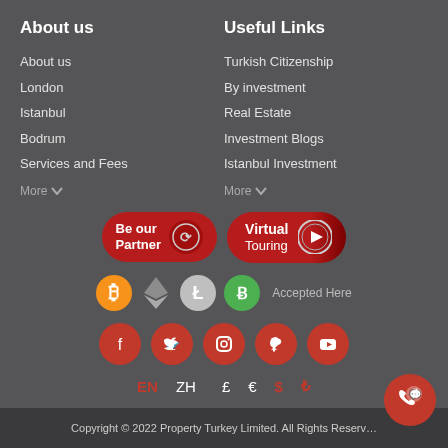About us
About us
London
Istanbul
Bodrum
Services and Fees
More ▾
Useful Links
Turkish Citizenship
By investment
Real Estate
Investment Blogs
Istanbul Investment
More ▾
[Figure (logo): Be our Partner button with circular icon]
[Figure (logo): Virtual Touring button with play icon]
[Figure (logo): Cryptocurrency accepted here icons: Bitcoin, Ethereum, Litecoin, Bitcoin Cash with text 'Accepted Here']
[Figure (logo): Social media icons: Facebook, Twitter, Instagram, Pinterest, YouTube]
EN ZH   £ € $ ₺
Copyright © 2022 Property Turkey Limited. All Rights Reserv...